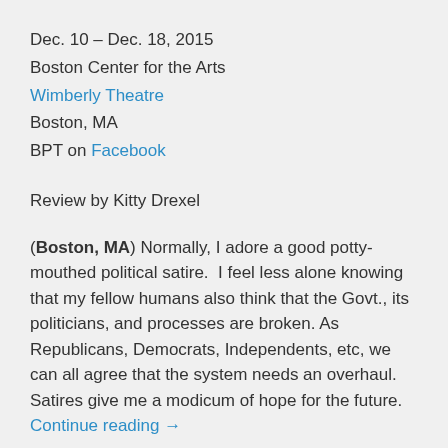Dec. 10 – Dec. 18, 2015
Boston Center for the Arts
Wimberly Theatre
Boston, MA
BPT on Facebook
Review by Kitty Drexel
(Boston, MA) Normally, I adore a good potty-mouthed political satire.  I feel less alone knowing that my fellow humans also think that the Govt., its politicians, and processes are broken. As Republicans, Democrats, Independents, etc, we can all agree that the system needs an overhaul. Satires give me a modicum of hope for the future. Continue reading →